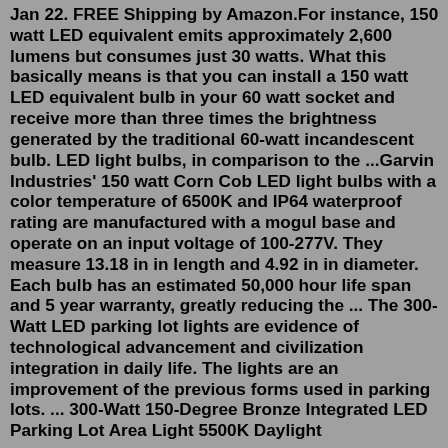Jan 22. FREE Shipping by Amazon.For instance, 150 watt LED equivalent emits approximately 2,600 lumens but consumes just 30 watts. What this basically means is that you can install a 150 watt LED equivalent bulb in your 60 watt socket and receive more than three times the brightness generated by the traditional 60-watt incandescent bulb. LED light bulbs, in comparison to the ...Garvin Industries' 150 watt Corn Cob LED light bulbs with a color temperature of 6500K and IP64 waterproof rating are manufactured with a mogul base and operate on an input voltage of 100-277V. They measure 13.18 in in length and 4.92 in in diameter. Each bulb has an estimated 50,000 hour life span and 5 year warranty, greatly reducing the ... The 300-Watt LED parking lot lights are evidence of technological advancement and civilization integration in daily life. The lights are an improvement of the previous forms used in parking lots. ... 300-Watt 150-Degree Bronze Integrated LED Parking Lot Area Light 5500K Daylight